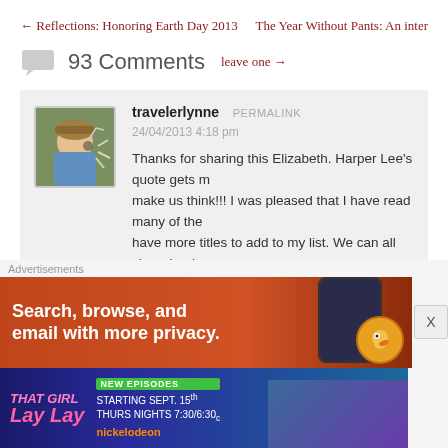← Reflections: Honoring Earth Day 2013    The Year Without Pants: An inter
93 Comments  leave one →
travelerlynne  PERMALINK
24/04/2013 4:18 pm
Thanks for sharing this Elizabeth. Harper Lee's quote gets m... make us think!!! I was pleased that I have read many of the... have more titles to add to my list. We can all share books o... advice. It truly is the gift that keeps on giving. Just look at t... people proud to be part of this.
[Figure (screenshot): Advertisement banner: DuckDuckGo - Search, browse, and email with more privacy. Orange background with phone mockup.]
[Figure (screenshot): Advertisement banner: That Girl Lay Lay - New Episodes Starting Sept. 15th Thurs Nights 7:30/6:30c on Nickelodeon.]